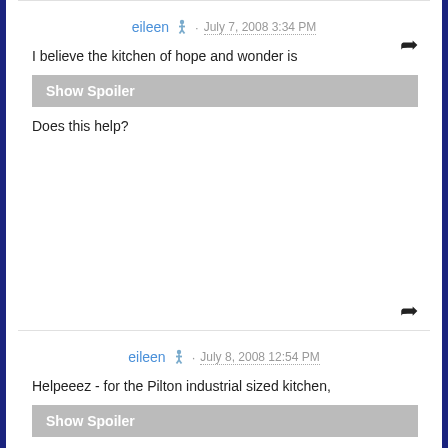eileen · July 7, 2008 3:34 PM
I believe the kitchen of hope and wonder is
Show Spoiler
Does this help?
eileen · July 8, 2008 12:54 PM
Helpeeez - for the Pilton industrial sized kitchen,
Show Spoiler
Let me know if this works for you!